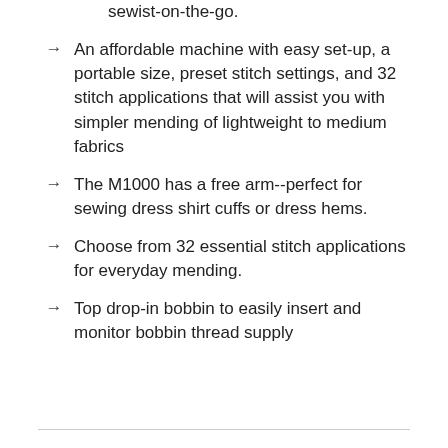sewist-on-the-go.
An affordable machine with easy set-up, a portable size, preset stitch settings, and 32 stitch applications that will assist you with simpler mending of lightweight to medium fabrics
The M1000 has a free arm--perfect for sewing dress shirt cuffs or dress hems.
Choose from 32 essential stitch applications for everyday mending.
Top drop-in bobbin to easily insert and monitor bobbin thread supply